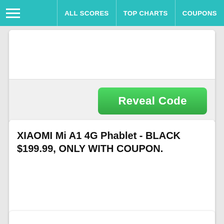ALL SCORES | TOP CHARTS | COUPONS
[Figure (screenshot): Reveal Code button card - top partial card with green Reveal Code button]
XIAOMI Mi A1 4G Phablet - BLACK $199.99, ONLY WITH COUPON.
[Figure (screenshot): Reveal Code button for XIAOMI coupon card]
[Figure (screenshot): Partial card at bottom of page]